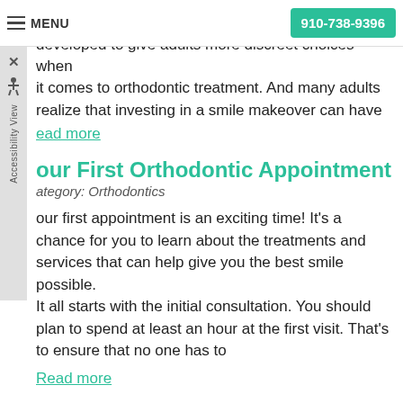MENU  910-738-9396
plines that are barely noticeable have been developed to give adults more discreet choices when it comes to orthodontic treatment. And many adults realize that investing in a smile makeover can have
ead more
our First Orthodontic Appointment
Category: Orthodontics
our first appointment is an exciting time! It's a chance for you to learn about the treatments and services that can help give you the best smile possible. It all starts with the initial consultation. You should plan to spend at least an hour at the first visit. That's to ensure that no one has to
Read more
Types of Braces
Category: Orthodontics